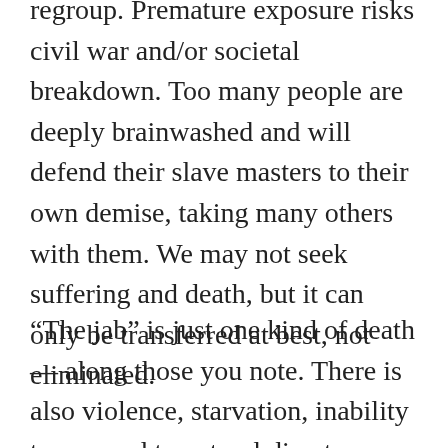regroup. Premature exposure risks civil war and/or societal breakdown. Too many people are deeply brainwashed and will defend their slave masters to their own demise, taking many others with them. We may not seek suffering and death, but it can only be transferred at best, not eliminated.
“The jab” is just one kind of death — along those you note. There is also violence, starvation, inability to respond to natural disasters, disease, WMD… the list goes on. Optimising for one of these variable may be pessimal overall, leading to a catastrop final death toll.